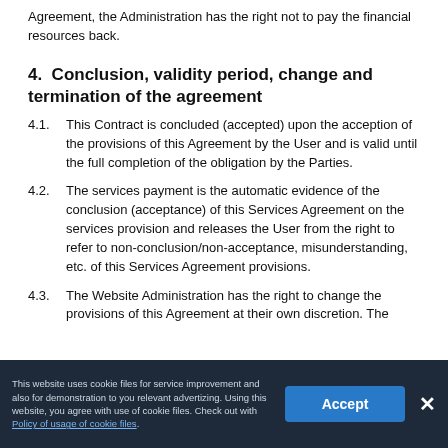Agreement, the Administration has the right not to pay the financial resources back.
4. Conclusion, validity period, change and termination of the agreement
4.1. This Contract is concluded (accepted) upon the acception of the provisions of this Agreement by the User and is valid until the full completion of the obligation by the Parties.
4.2. The services payment is the automatic evidence of the conclusion (acceptance) of this Services Agreement on the services provision and releases the User from the right to refer to non-conclusion/non-acceptance, misunderstanding, etc. of this Services Agreement provisions.
4.3. The Website Administration has the right to change the provisions of this Agreement at their own discretion. The
This website uses cookie files for service improvement and also for demonstration to you relevant advertizing. Using this website, you agree with use of cookie files. Check out with Policy of usage of cookie files.